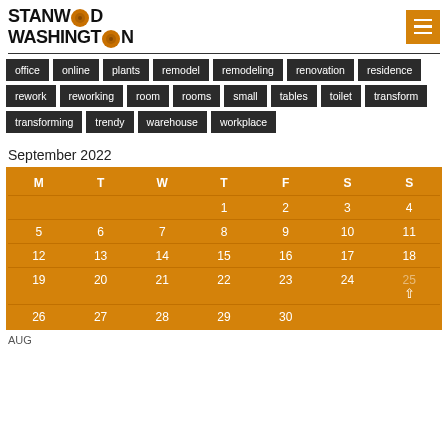[Figure (logo): Stanwood Washington logo with wood grain circle graphic]
office
online
plants
remodel
remodeling
renovation
residence
rework
reworking
room
rooms
small
tables
toilet
transform
transforming
trendy
warehouse
workplace
September 2022
| M | T | W | T | F | S | S |
| --- | --- | --- | --- | --- | --- | --- |
|  |  |  | 1 | 2 | 3 | 4 |
| 5 | 6 | 7 | 8 | 9 | 10 | 11 |
| 12 | 13 | 14 | 15 | 16 | 17 | 18 |
| 19 | 20 | 21 | 22 | 23 | 24 | 25 |
| 26 | 27 | 28 | 29 | 30 |  |  |